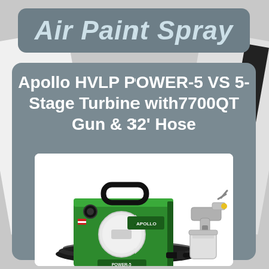Air Paint Spray
Apollo HVLP POWER-5 VS 5-Stage Turbine with7700QT Gun & 32' Hose
[Figure (photo): Apollo HVLP POWER-5 VS 5-Stage Turbine spray system — a green metal box turbine unit with black handle and coiled hose, with an HVLP spray gun attached on the right side with a transparent cup. The Apollo logo is visible on the front. The unit sits on the coiled black hose.]